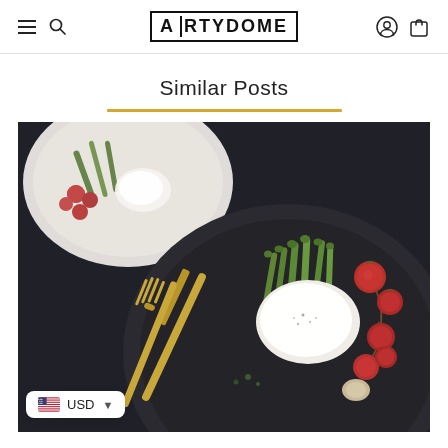ARTYDOME navigation header with menu, search, account, and cart icons
Similar Posts
[Figure (photo): Overhead dark-toned food photography showing a plate with asparagus, poached egg, roasted cherry tomatoes, and gold utensils (knife and fork) on a dark background, with a second plate partially visible at top.]
USD currency selector badge with US flag